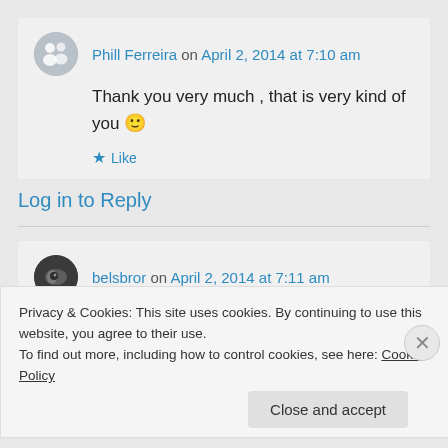Phill Ferreira on April 2, 2014 at 7:10 am
Thank you very much , that is very kind of you 🙂
★ Like
Log in to Reply
belsbror on April 2, 2014 at 7:11 am
Privacy & Cookies: This site uses cookies. By continuing to use this website, you agree to their use.
To find out more, including how to control cookies, see here: Cookie Policy
Close and accept